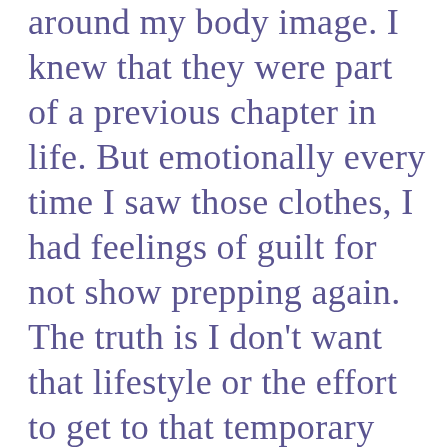around my body image. I knew that they were part of a previous chapter in life. But emotionally every time I saw those clothes, I had feelings of guilt for not show prepping again. The truth is I don't want that lifestyle or the effort to get to that temporary borrowed body.
It finally occurred to me that